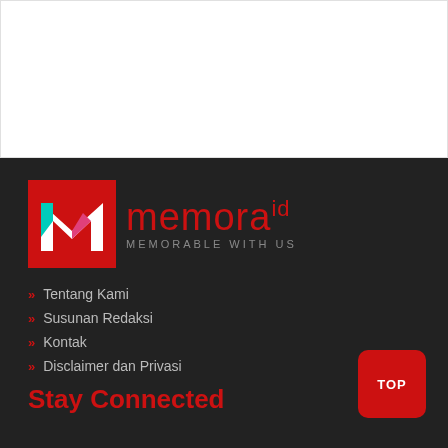[Figure (logo): Memora logo - red square with stylized M letter in white, pink and teal, with text 'memora' in red and 'MEMORABLE WITH US' in grey]
>> Tentang Kami
>> Susunan Redaksi
>> Kontak
>> Disclaimer dan Privasi
Stay Connected